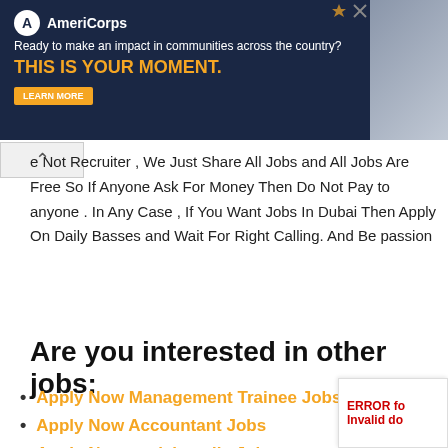[Figure (other): AmeriCorps advertisement banner with dark navy background, logo, tagline 'Ready to make an impact in communities across the country?', headline 'THIS IS YOUR MOMENT.' in orange, LEARN MORE button, and a photo of people on the right side.]
e Not Recruiter , We Just Share All Jobs and All Jobs Are Free So If Anyone Ask For Money Then Do Not Pay to anyone . In Any Case , If You Want Jobs In Dubai Then Apply On Daily Basses and Wait For Right Calling. And Be passion
Are you interested in other jobs:
Apply Now Management Trainee Jobs
Apply Now Accountant Jobs
Apply Now social media Jobs
Apply Now Technician Jobs
Apply Now Customer Service Jobs
Apply Now Painter Jobs